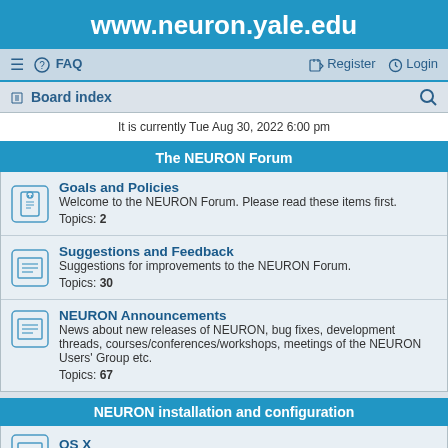www.neuron.yale.edu
≡  FAQ    Register  Login
Board index
It is currently Tue Aug 30, 2022 6:00 pm
The NEURON Forum
Goals and Policies
Welcome to the NEURON Forum. Please read these items first.
Topics: 2
Suggestions and Feedback
Suggestions for improvements to the NEURON Forum.
Topics: 30
NEURON Announcements
News about new releases of NEURON, bug fixes, development threads, courses/conferences/workshops, meetings of the NEURON Users' Group etc.
Topics: 67
NEURON installation and configuration
OS X
Topics: 139
MSWin
Topics: 133